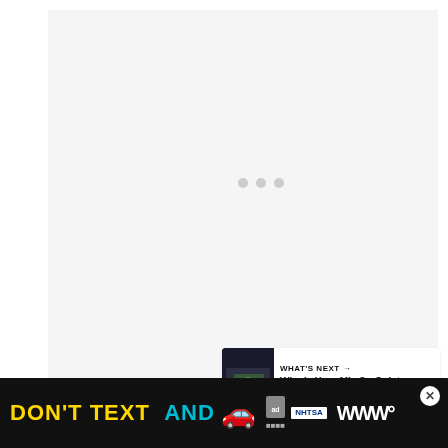[Figure (screenshot): Large white/light gray loading area with three gray loading dots in the center]
[Figure (infographic): Blue circular heart/like button, count of 1, and circular share button with plus icon on the right side]
[Figure (screenshot): What's Next card with thumbnail image and text 'Why Is Your Mic So Quiet...']
It also has a direct share button to quickly move your
[Figure (infographic): Advertisement banner: DON'T TEXT AND [car emoji] with NHTSA logo and ad badge, close button]